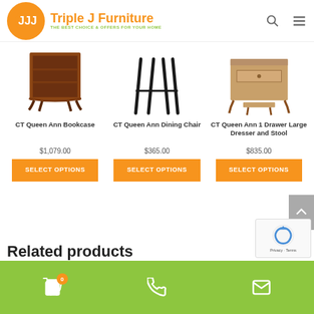[Figure (logo): Triple J Furniture logo with orange circle containing JJJ letters and orange/green text]
[Figure (photo): CT Queen Ann Bookcase - wooden bookcase with ornate legs]
[Figure (photo): CT Queen Ann Dining Chair - chair with black legs visible]
[Figure (photo): CT Queen Ann 1 Drawer Large Dresser and Stool - dresser with stool]
CT Queen Ann Bookcase
$1,079.00
SELECT OPTIONS
CT Queen Ann Dining Chair
$365.00
SELECT OPTIONS
CT Queen Ann 1 Drawer Large Dresser and Stool
$835.00
SELECT OPTIONS
Related products
Cart (0) | Phone | Email